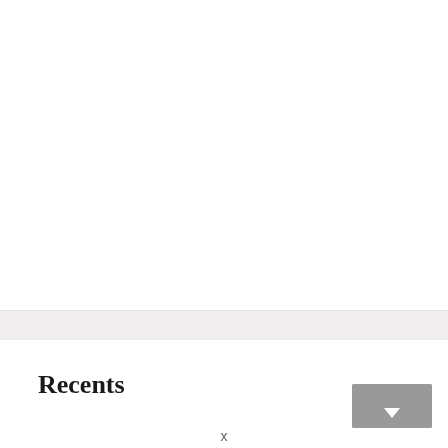Recents
[Figure (other): Gray thumbnail placeholder box with a small white triangle/arrow icon at the bottom center]
x